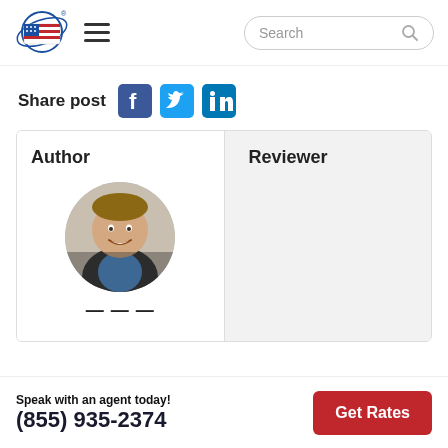[Figure (logo): USA Insurance logo with globe and flag]
Share post
[Figure (illustration): Social share icons: Facebook, Twitter, LinkedIn]
| Author | Reviewer |
| --- | --- |
| [author photo] |  |
[Figure (photo): Circular headshot photo of a smiling man in a blue shirt and dark jacket]
Speak with an agent today!
(855) 935-2374
Get Rates